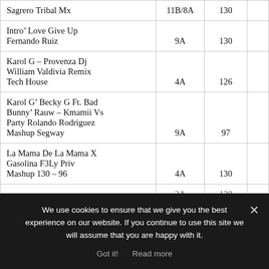| Track | Key | BPM |  |
| --- | --- | --- | --- |
| Sagrero Tribal Mx | 11B/8A | 130 |  |
| Intro’ Love Give Up
Fernando Ruiz | 9A | 130 |  |
| Karol G – Provenza Dj William Valdivia Remix Tech House | 4A | 126 |  |
| Karol G’ Becky G Ft. Bad Bunny’ Rauw – Kmamii Vs Party Rolando Rodriguez Mashup Segway | 9A | 97 |  |
| La Mama De La Mama X Gasolina F3Ly Priv Mashup 130 – 96 | 4A | 130 |  |
| [partially visible row] | 2A | 128 |  |
| Los Hermanos Rosslio |  |  |  |
We use cookies to ensure that we give you the best experience on our website. If you continue to use this site we will assume that you are happy with it.
Got it!   Read more